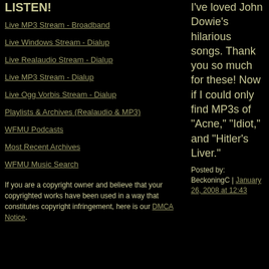LISTEN!
Live MP3 Stream - Broadband
Live Windows Stream - Dialup
Live Realaudio Stream - Dialup
Live MP3 Stream - Dialup
Live Ogg Vorbis Stream - Dialup
Playlists & Archives (Realaudio & MP3)
WFMU Podcasts
Most Recent Archives
WFMU Music Search
If you are a copyright owner and believe that your copyrighted works have been used in a way that constitutes copyright infringement, here is our DMCA Notice.
I've loved John Dowie's hilarious songs. Thank you so much for these! Now if I could only find MP3s of "Acne," "Idiot," and "Hitler's Liver."
Posted by: BeckoningC | January 26, 2008 at 12:43